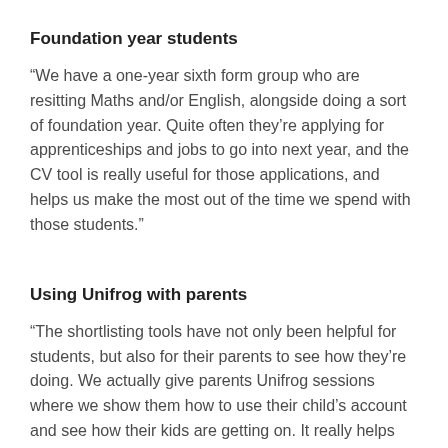Foundation year students
“We have a one-year sixth form group who are resitting Maths and/or English, alongside doing a sort of foundation year. Quite often they’re applying for apprenticeships and jobs to go into next year, and the CV tool is really useful for those applications, and helps us make the most out of the time we spend with those students.”
Using Unifrog with parents
“The shortlisting tools have not only been helpful for students, but also for their parents to see how they’re doing. We actually give parents Unifrog sessions where we show them how to use their child’s account and see how their kids are getting on. It really helps that